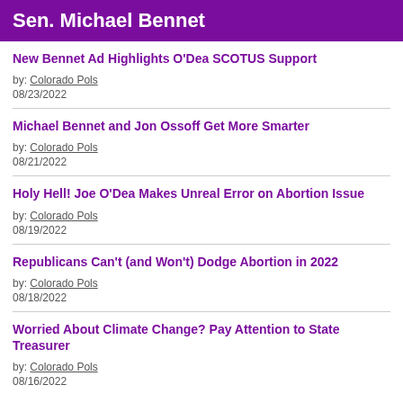Sen. Michael Bennet
New Bennet Ad Highlights O'Dea SCOTUS Support
by: Colorado Pols
08/23/2022
Michael Bennet and Jon Ossoff Get More Smarter
by: Colorado Pols
08/21/2022
Holy Hell! Joe O'Dea Makes Unreal Error on Abortion Issue
by: Colorado Pols
08/19/2022
Republicans Can't (and Won't) Dodge Abortion in 2022
by: Colorado Pols
08/18/2022
Worried About Climate Change? Pay Attention to State Treasurer
by: Colorado Pols
08/16/2022